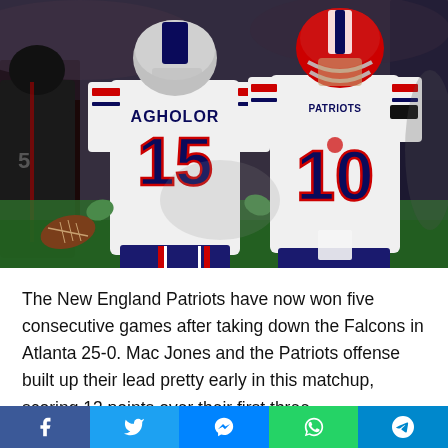[Figure (photo): Two New England Patriots players celebrating on a football field. Player #15 AGHOLOR wearing white Patriots jersey faces away, player #10 in white jersey with red helmet faces camera. Background shows stadium crowd and opposing team players in dark jerseys.]
The New England Patriots have now won five consecutive games after taking down the Falcons in Atlanta 25-0. Mac Jones and the Patriots offense built up their lead pretty early in this matchup, scoring 13 points over their first three
[Figure (infographic): Social media sharing bar with five buttons: Facebook (blue), Twitter (light blue), Messenger (blue), WhatsApp (green), Telegram (blue)]